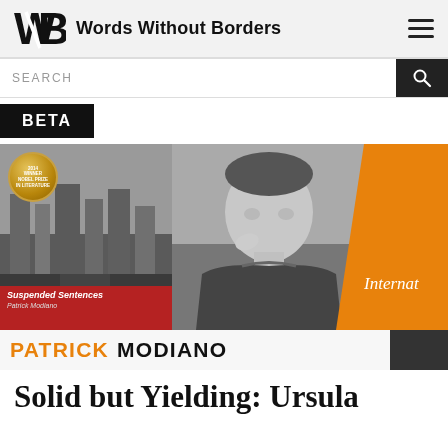Words Without Borders
SEARCH
BETA
[Figure (photo): Hero image showing a book cover of 'Suspended Sentences' by Patrick Modiano with a 2014 Nobel Prize winner medal, a black-and-white photo of Patrick Modiano, an orange diagonal panel with text 'Internat', and a name bar reading 'PATRICK MODIANO']
Solid but Yielding: Ursula